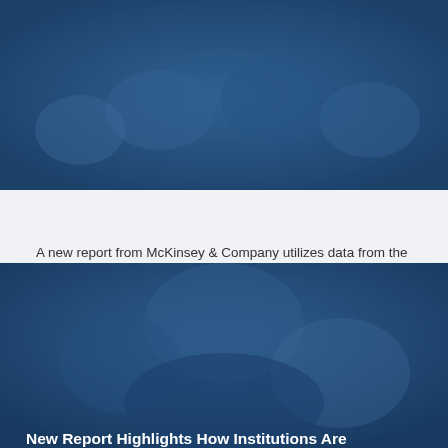[Figure (photo): Blue-tinted photograph of students in a classroom or group setting, viewed from above]
A new report from McKinsey & Company utilizes data from the Integrated Postsecondary Education Data System (IPEDS) highlights representation parity gaps for students and faculty and the subsequent implications these gaps have for life after college.
[Figure (photo): Blue-tinted photograph of students at what appears to be a graduation or campus event]
New Report Highlights How Institutions Are Supporting Post-completion Success for Latino Students